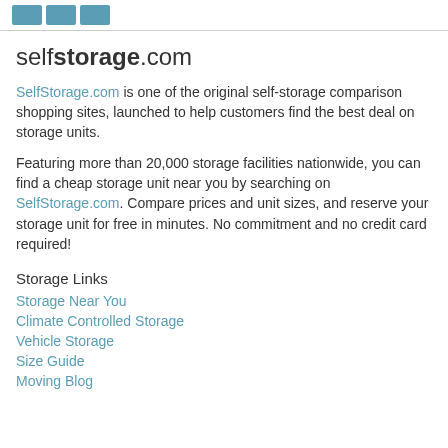[logo boxes]
selfstorage.com
SelfStorage.com is one of the original self-storage comparison shopping sites, launched to help customers find the best deal on storage units.
Featuring more than 20,000 storage facilities nationwide, you can find a cheap storage unit near you by searching on SelfStorage.com. Compare prices and unit sizes, and reserve your storage unit for free in minutes. No commitment and no credit card required!
Storage Links
Storage Near You
Climate Controlled Storage
Vehicle Storage
Size Guide
Moving Blog